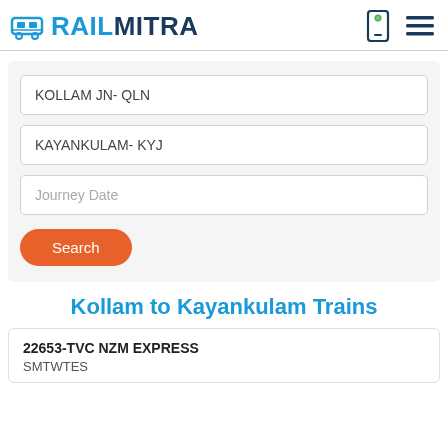RAILMITRA
KOLLAM JN- QLN
KAYANKULAM- KYJ
Journey Date
Search
Kollam to Kayankulam Trains
22653-TVC NZM EXPRESS
SMTWTFS